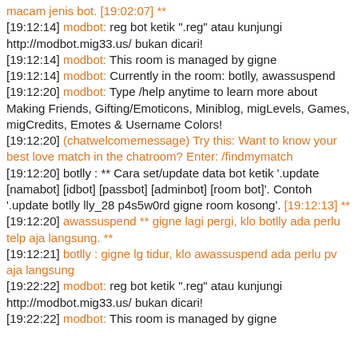macam jenis bot. [19:02:07] **
[19:12:14] modbot: reg bot ketik ".reg" atau kunjungi http://modbot.mig33.us/ bukan dicari!
[19:12:14] modbot: This room is managed by gigne
[19:12:14] modbot: Currently in the room: botlly, awassuspend
[19:12:20] modbot: Type /help anytime to learn more about Making Friends, Gifting/Emoticons, Miniblog, migLevels, Games, migCredits, Emotes & Username Colors!
[19:12:20] (chatwelcomemessage) Try this: Want to know your best love match in the chatroom? Enter: /findmymatch
[19:12:20] botlly : ** Cara set/update data bot ketik '.update [namabot] [idbot] [passbot] [adminbot] [room bot]'. Contoh '.update botlly lly_28 p4s5w0rd gigne room kosong'. [19:12:13] **
[19:12:20] awassuspend ** gigne lagi pergi, klo botlly ada perlu telp aja langsung. **
[19:12:21] botlly : gigne lg tidur, klo awassuspend ada perlu pv aja langsung
[19:22:22] modbot: reg bot ketik ".reg" atau kunjungi http://modbot.mig33.us/ bukan dicari!
[19:22:22] modbot: This room is managed by gigne